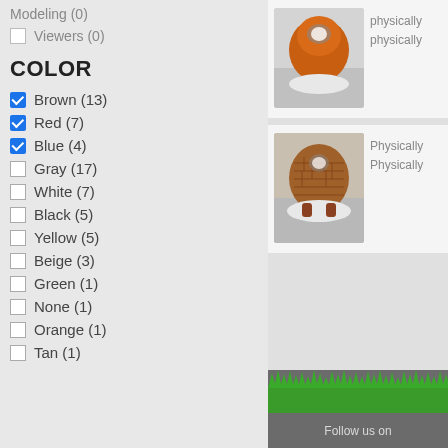Modeling (0)
Viewers (0)
COLOR
Brown (13) [checked]
Red (7) [checked]
Blue (4) [checked]
Gray (17)
White (7)
Black (5)
Yellow (5)
Beige (3)
Green (1)
None (1)
Orange (1)
Tan (1)
[Figure (photo): Orange clay robot figurine on white base]
physically
physically
[Figure (photo): Brick-textured robot figurine on white base]
Physically
Physically
[Figure (illustration): Green grass strip above dark gray footer area with 'Follow us on' text]
Follow us on